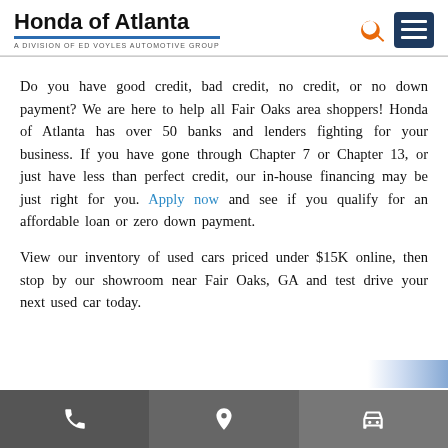Honda of Atlanta — A DIVISION OF ED VOYLES AUTOMOTIVE GROUP
Do you have good credit, bad credit, no credit, or no down payment? We are here to help all Fair Oaks area shoppers! Honda of Atlanta has over 50 banks and lenders fighting for your business. If you have gone through Chapter 7 or Chapter 13, or just have less than perfect credit, our in-house financing may be just right for you. Apply now and see if you qualify for an affordable loan or zero down payment.
View our inventory of used cars priced under $15K online, then stop by our showroom near Fair Oaks, GA and test drive your next used car today.
Phone | Location | Car icons